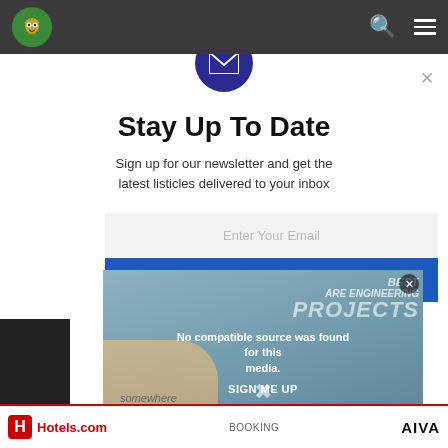[Figure (screenshot): Website navigation bar with owl logo, search icon, and hamburger menu on dark background]
[Figure (screenshot): Newsletter signup modal overlay with email envelope icon, title 'Stay Up To Date', subtitle, email input, sign-up button, and overlapping video ad]
Stay Up To Date
Sign up for our newsletter and get the latest listicles delivered to your inbox
Enter Your Email
SIGN ME UP
No compatible source was found for this media.
No thanks, I'm not interested
[Figure (screenshot): Bottom advertisement bar with Hotels.com logo, Booking.com text, and AIVA brand]